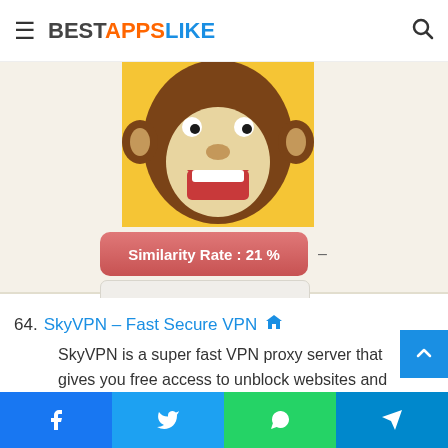BESTAPPSLIKE
[Figure (illustration): Partial view of a cartoon monkey app icon with yellow, brown and red colors]
Similarity Rate : 21 %
Similar Apps
64. SkyVPN – Fast Secure VPN
SkyVPN is a super fast VPN proxy server that gives you free access to unblock websites and bypass school Wi-Fi in just one click. Optimized for Android, SkyVPN helps protect Wi-Fi hotspot